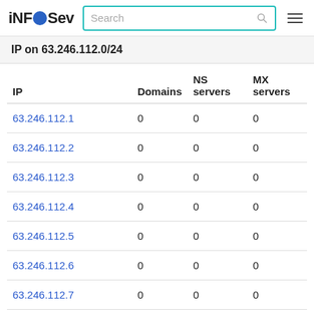iNFOSev  Search
IP on 63.246.112.0/24
| IP | Domains | NS servers | MX servers |
| --- | --- | --- | --- |
| 63.246.112.1 | 0 | 0 | 0 |
| 63.246.112.2 | 0 | 0 | 0 |
| 63.246.112.3 | 0 | 0 | 0 |
| 63.246.112.4 | 0 | 0 | 0 |
| 63.246.112.5 | 0 | 0 | 0 |
| 63.246.112.6 | 0 | 0 | 0 |
| 63.246.112.7 | 0 | 0 | 0 |